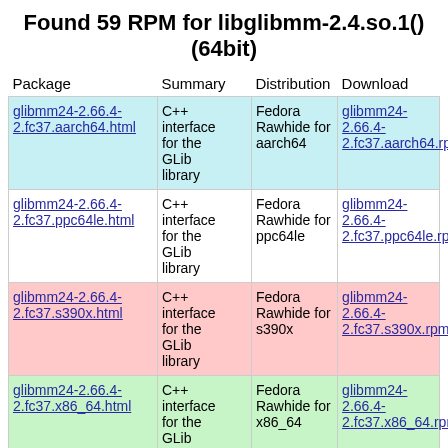Found 59 RPM for libglibmm-2.4.so.1()(64bit)
| Package | Summary | Distribution | Download |
| --- | --- | --- | --- |
| glibmm24-2.66.4-2.fc37.aarch64.html | C++ interface for the GLib library | Fedora Rawhide for aarch64 | glibmm24-2.66.4-2.fc37.aarch64.rpm |
| glibmm24-2.66.4-2.fc37.ppc64le.html | C++ interface for the GLib library | Fedora Rawhide for ppc64le | glibmm24-2.66.4-2.fc37.ppc64le.rpm |
| glibmm24-2.66.4-2.fc37.s390x.html | C++ interface for the GLib library | Fedora Rawhide for s390x | glibmm24-2.66.4-2.fc37.s390x.rpm |
| glibmm24-2.66.4-2.fc37.x86_64.html | C++ interface for the GLib library | Fedora Rawhide for x86_64 | glibmm24-2.66.4-2.fc37.x86_64.rpm |